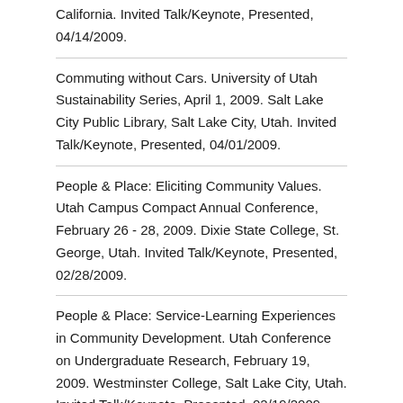California. Invited Talk/Keynote, Presented, 04/14/2009.
Commuting without Cars. University of Utah Sustainability Series, April 1, 2009. Salt Lake City Public Library, Salt Lake City, Utah. Invited Talk/Keynote, Presented, 04/01/2009.
People & Place: Eliciting Community Values. Utah Campus Compact Annual Conference, February 26 - 28, 2009. Dixie State College, St. George, Utah. Invited Talk/Keynote, Presented, 02/28/2009.
People & Place: Service-Learning Experiences in Community Development. Utah Conference on Undergraduate Research, February 19, 2009. Westminster College, Salt Lake City, Utah. Invited Talk/Keynote, Presented, 02/19/2009.
Sustainable Salt Lake City. Salt Lake City City Council.